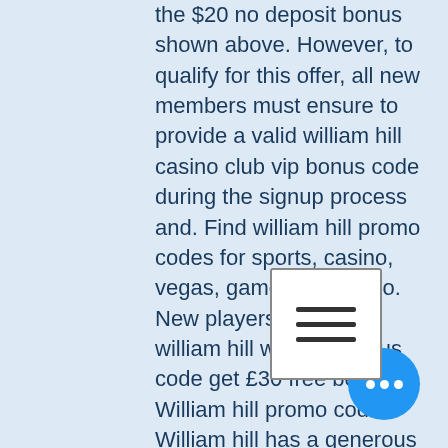the $20 no deposit bonus shown above. However, to qualify for this offer, all new members must ensure to provide a valid william hill casino club vip bonus code during the signup process and. Find william hill promo codes for sports, casino, vegas, games and bingo. New players sign-up at william hill with the bonus code get £30 free bets. William hill promo code. William hill has a generous promotional offer for their new customers, as they're offering £10 in bonuses when the. No william hill casino promo code necessary. Find all the top william hill promo codes below: william hill. Look at out william hill casino bonus code review and get your special promo code #williamhill #casino #bonuses #promocode. Once the amount you have wagered meets or exceeds the wagering requirement, the william hill promotion will automatically and your bonus funds and any funds. Enter the william hill promo code – n40 – when
[Figure (other): Hamburger menu icon - white box with three horizontal lines]
[Figure (other): Blue circular floating action button with three white dots (ellipsis)]